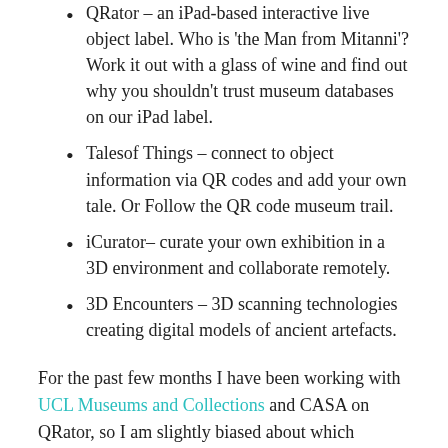QRator – an iPad-based interactive live object label. Who is 'the Man from Mitanni'? Work it out with a glass of wine and find out why you shouldn't trust museum databases on our iPad label.
Talesof Things – connect to object information via QR codes and add your own tale. Or Follow the QR code museum trail.
iCurator– curate your own exhibition in a 3D environment and collaborate remotely.
3D Encounters – 3D scanning technologies creating digital models of ancient artefacts.
For the past few months I have been working with UCL Museums and Collections and CASA on QRator, so I am slightly biased about which technology is my favourite... But all of the technologies on display are fascinating and